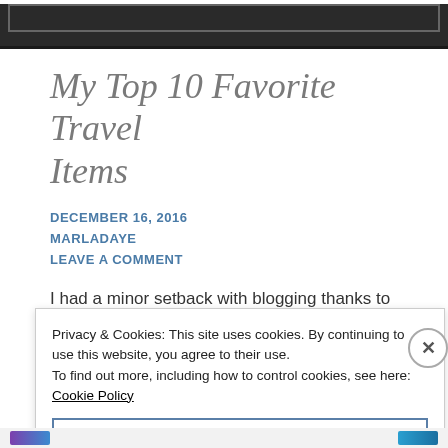[Figure (photo): Dark header image with a bordered inner rectangle, partially visible at the top of the page.]
My Top 10 Favorite Travel Items
DECEMBER 16, 2016
MARLADAYE
LEAVE A COMMENT
I had a minor setback with blogging thanks to my
Privacy & Cookies: This site uses cookies. By continuing to use this website, you agree to their use. To find out more, including how to control cookies, see here: Cookie Policy
Close and accept